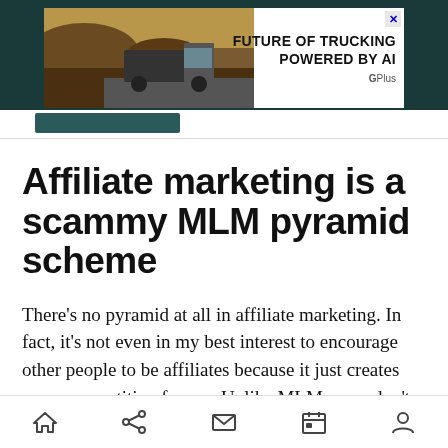[Figure (other): Advertisement banner for trucking AI service showing a truck in desert landscape with text 'FUTURE OF TRUCKING POWERED BY AI' and 'G Plus' branding]
Affiliate marketing is a scammy MLM pyramid scheme
There's no pyramid at all in affiliate marketing. In fact, it's not even in my best interest to encourage other people to be affiliates because it just creates more competition for me. Unlike MLMs, you don't pay anything to become an affiliate. You pick and